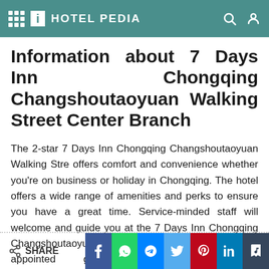i HOTEL PEDIA
Information about 7 Days Inn Chongqing Changshoutaoyuan Walking Street Center Branch
The 2-star 7 Days Inn Chongqing Changshoutaoyuan Walking Stre offers comfort and convenience whether you're on business or holiday in Chongqing. The hotel offers a wide range of amenities and perks to ensure you have a great time. Service-minded staff will welcome and guide you at the 7 Days Inn Chongqing Changshoutaoyuan Walking Stre. Some of the well-appointed guestrooms feature internet access...wireless
SHARE | Facebook | WhatsApp | Messenger | Twitter | Pinterest | LinkedIn | Tumblr